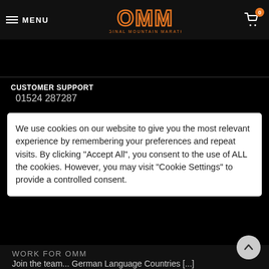MENU | OMM Original Mountain Marathon | Cart 0
CUSTOMER SUPPORT
01524 287287
We use cookies on our website to give you the most relevant experience by remembering your preferences and repeat visits. By clicking "Accept All", you consent to the use of ALL the cookies. However, you may visit "Cookie Settings" to provide a controlled consent.
WORK FOR OMM
Join the team... German Language Countries [...]
Ultimate Guide to Winter Running
With the first bite of winter on the summits... [...]